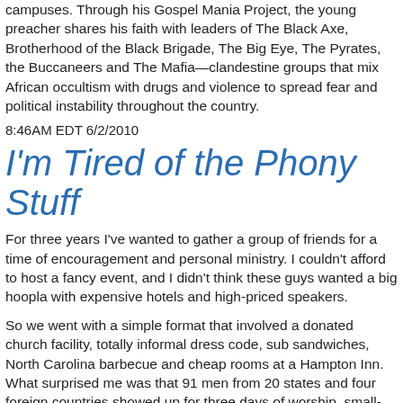campuses. Through his Gospel Mania Project, the young preacher shares his faith with leaders of The Black Axe, Brotherhood of the Black Brigade, The Big Eye, The Pyrates, the Buccaneers and The Mafia—clandestine groups that mix African occultism with drugs and violence to spread fear and political instability throughout the country.
8:46AM EDT 6/2/2010
I'm Tired of the Phony Stuff
For three years I've wanted to gather a group of friends for a time of encouragement and personal ministry. I couldn't afford to host a fancy event, and I didn't think these guys wanted a big hoopla with expensive hotels and high-priced speakers.
So we went with a simple format that involved a donated church facility, totally informal dress code, sub sandwiches, North Carolina barbecue and cheap rooms at a Hampton Inn. What surprised me was that 91 men from 20 states and four foreign countries showed up for three days of worship, small-group interaction and inspiring messages from 32 of the guys. (Don't worry, they kept their comments brief.)
What happened in that small window of time amazed me. Weary pastors met new friends. Younger guys bonded with new mentors. Men